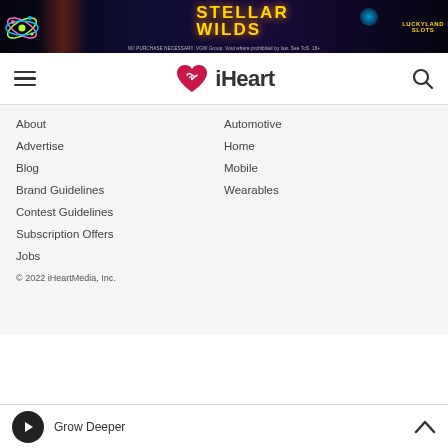[Figure (photo): Advertisement banner for Stellar Wilds slot game by LuckyLand Slots. Dark space-themed background with 'STELLAR WILDS' text in gold, atom/space graphics, and LuckyLand Slots logo. Fine print: NO PURCHASE NECESSARY. VGW Group. Void where prohibited by law. See ToS. 18+]
[Figure (logo): iHeart logo with pink heart/radio wave icon and 'iHeart' text in bold]
About
Automotive
Advertise
Home
Blog
Mobile
Brand Guidelines
Wearables
Contest Guidelines
Subscription Offers
Jobs
© 2022 iHeartMedia, Inc.
Grow Deeper